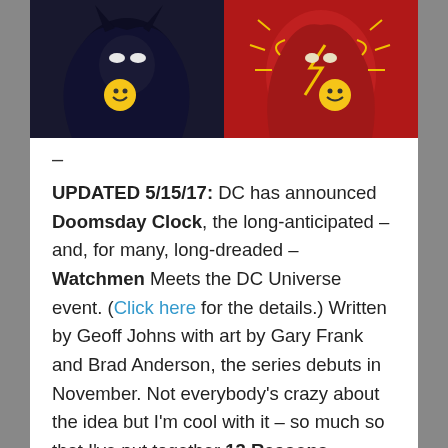[Figure (illustration): Comic book artwork showing Batman (left, dark costume) and The Flash (right, red costume) each holding a yellow smiley face button, side by side]
–
UPDATED 5/15/17: DC has announced Doomsday Clock, the long-anticipated – and, for many, long-dreaded – Watchmen Meets the DC Universe event. (Click here for the details.) Written by Geoff Johns with art by Gary Frank and Brad Anderson, the series debuts in November. Not everybody's crazy about the idea but I'm cool with it – so much so that I've put together 13 Reasons